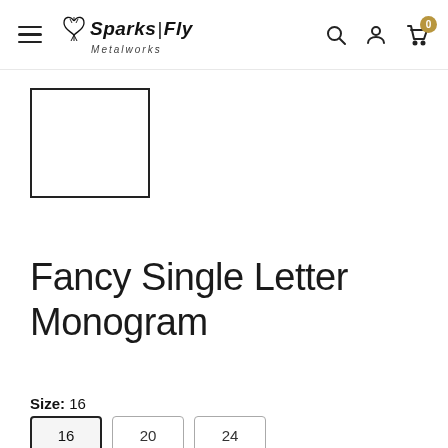Sparks Fly Metalworks — navigation bar with hamburger, logo, search, user, cart (0)
[Figure (photo): Product image placeholder — empty white rectangle with dark border]
Fancy Single Letter Monogram
Size: 16
16 (selected), 20, 24